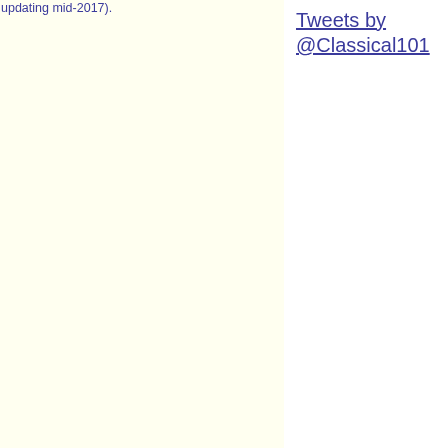updating mid-2017).
Tweets by @Classical101
Su   6:00a-10:00a
Sa   7:00a- 8:00a
Sa   8:00a- 1:00p
Su   10:00a- 1:00p
M   10:00a-11:00a
TuWThF   10:00a-11:00a